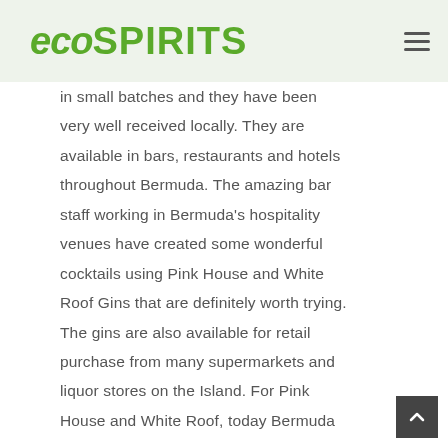ecoSPIRITS
in small batches and they have been very well received locally. They are available in bars, restaurants and hotels throughout Bermuda. The amazing bar staff working in Bermuda's hospitality venues have created some wonderful cocktails using Pink House and White Roof Gins that are definitely worth trying. The gins are also available for retail purchase from many supermarkets and liquor stores on the Island. For Pink House and White Roof, today Bermuda...